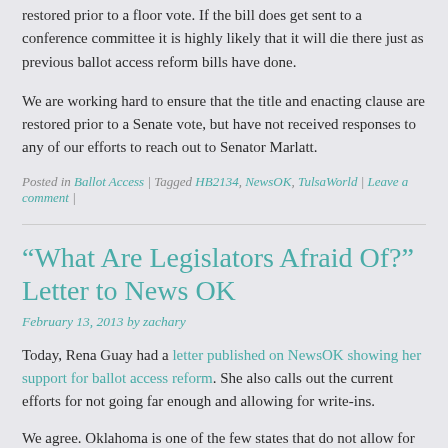restored prior to a floor vote. If the bill does get sent to a conference committee it is highly likely that it will die there just as previous ballot access reform bills have done.
We are working hard to ensure that the title and enacting clause are restored prior to a Senate vote, but have not received responses to any of our efforts to reach out to Senator Marlatt.
Posted in Ballot Access | Tagged HB2134, NewsOK, TulsaWorld | Leave a comment |
“What Are Legislators Afraid Of?” Letter to News OK
February 13, 2013 by zachary
Today, Rena Guay had a letter published on NewsOK showing her support for ballot access reform. She also calls out the current efforts for not going far enough and allowing for write-ins.
We agree. Oklahoma is one of the few states that do not allow for write-in